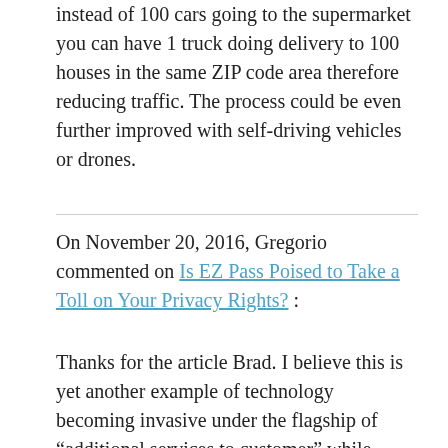instead of 100 cars going to the supermarket you can have 1 truck doing delivery to 100 houses in the same ZIP code area therefore reducing traffic. The process could be even further improved with self-driving vehicles or drones.
On November 20, 2016, Gregorio commented on Is EZ Pass Poised to Take a Toll on Your Privacy Rights? :
Thanks for the article Brad. I believe this is yet another example of technology becoming invasive under the flagship of “additional services to customer” while exploiting grey areas in regulations. It is clear that privacy concerns are growing among users, in spite of